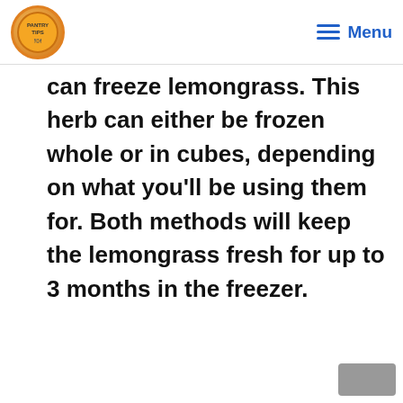PANTRY TIPS | Menu
can freeze lemongrass. This herb can either be frozen whole or in cubes, depending on what you'll be using them for. Both methods will keep the lemongrass fresh for up to 3 months in the freezer.
Contents [show]